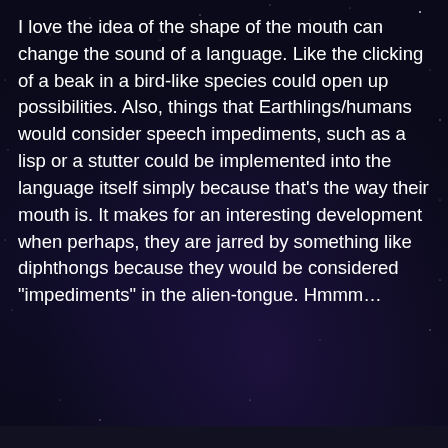I love the idea of the shape of the mouth can change the sound of a language. Like the clicking of a beak in a bird-like species could open up possibilities. Also, things that Earthlings/humans would consider speech impediments, such as a lisp or a stutter could be implemented into the language itself simply because that’s the way their mouth is. It makes for an interesting development when perhaps, they are jarred by something like diphthongs because they would be considered “impediments” in the alien-tongue. Hmmm…
[Figure (screenshot): A Reply button with blue/purple background on a dark starry background]